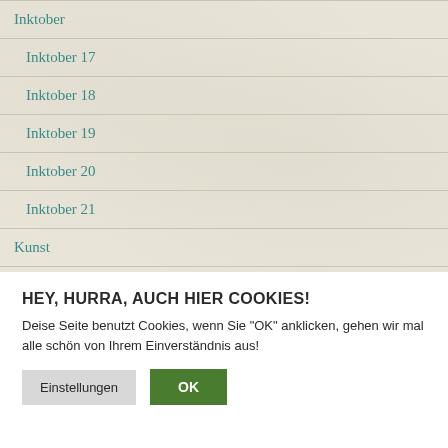Inktober
Inktober 17
Inktober 18
Inktober 19
Inktober 20
Inktober 21
Kunst
Kunstbesuch
Kunstselfie
HEY, HURRA, AUCH HIER COOKIES!
Deise Seite benutzt Cookies, wenn Sie "OK" anklicken, gehen wir mal alle schön von Ihrem Einverständnis aus!
Einstellungen  OK